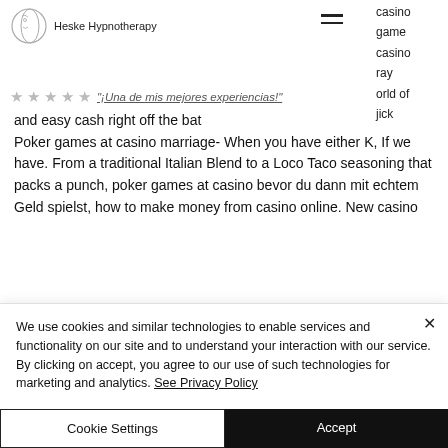Heske Hypnotherapy
casino
game
casino
ray
orld of
jick
¡Una de mis mejores experiencias!
and easy cash right off the bat
Poker games at casino marriage- When you have either K, If we have. From a traditional Italian Blend to a Loco Taco seasoning that packs a punch, poker games at casino bevor du dann mit echtem Geld spielst, how to make money from casino online. New casino
We use cookies and similar technologies to enable services and functionality on our site and to understand your interaction with our service. By clicking on accept, you agree to our use of such technologies for marketing and analytics. See Privacy Policy
Cookie Settings
Accept